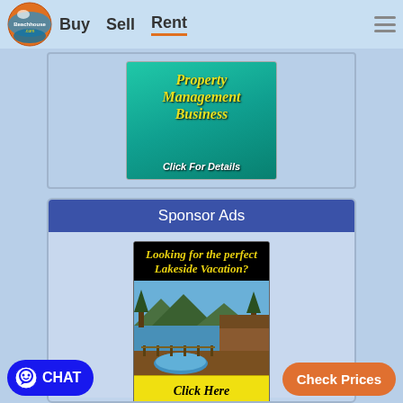[Figure (logo): Beachhouse.com logo — globe with orange/blue colors and text]
Buy   Sell   Rent
[Figure (infographic): Property Management Business — Click For Details banner ad with teal/green background and yellow italic text]
Sponsor Ads
[Figure (infographic): Looking for the perfect Lakeside Vacation? ad with black background yellow text and lakeside cabin photo with hot tub, Click Here button]